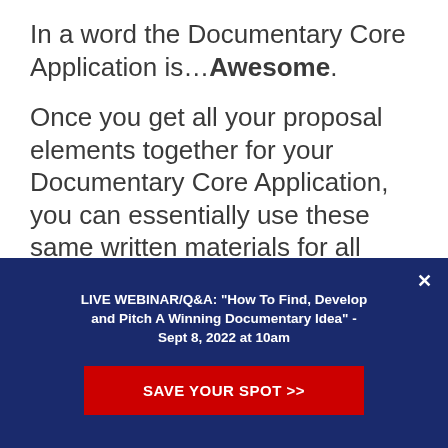In a word the Documentary Core Application is…Awesome.
Once you get all your proposal elements together for your Documentary Core Application, you can essentially use these same written materials for all your proposal elements each time you submit to a different funder. This saves you a lot of time and effort!
LIVE WEBINAR/Q&A: "How To Find, Develop and Pitch A Winning Documentary Idea" - Sept 8, 2022 at 10am
SAVE YOUR SPOT >>